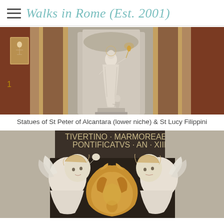Walks in Rome (Est. 2001)
[Figure (photo): Interior of St. Peter's Basilica showing a white marble statue of a saint in a lower niche, flanked by ornate marble columns and pilasters with decorative inlays. A smaller figure kneels at the statue's feet.]
Statues of St Peter of Alcantara (lower niche) & St Lucy Filippini
[Figure (photo): Close-up of Baroque sculptural detail showing two white marble cherubs/putti flanking an ornate gilded acanthus leaf cartouche. Latin inscription visible on dark stone background above: 'TIVERTINO MARMOREAE PONTIFICATVS AN XIII'.]